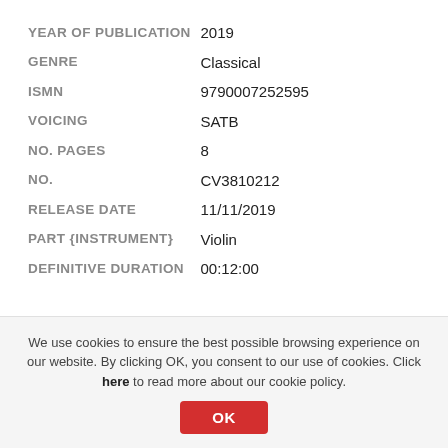| Field | Value |
| --- | --- |
| YEAR OF PUBLICATION | 2019 |
| GENRE | Classical |
| ISMN | 9790007252595 |
| VOICING | SATB |
| NO. PAGES | 8 |
| NO. | CV3810212 |
| RELEASE DATE | 11/11/2019 |
| PART {INSTRUMENT} | Violin |
| DEFINITIVE DURATION | 00:12:00 |
DESCRIPTION
At less than 20 years of age, the youngest son of the Leipzig cantor of St. Thomas, Johann Sebastian Bach, withdrew...
We use cookies to ensure the best possible browsing experience on our website. By clicking OK, you consent to our use of cookies. Click here to read more about our cookie policy.